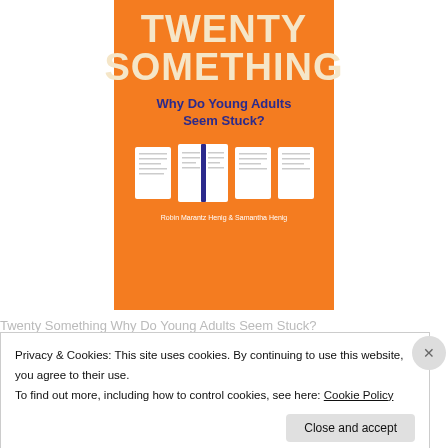[Figure (illustration): Book cover for 'Twentysomething: Why Do Young Adults Seem Stuck?' by Robin Marantz Henig and Samantha Henig. Orange background with large cream/tan title text 'TWENTY SOMETHING', dark blue subtitle 'Why Do Young Adults Seem Stuck?', four small book/page icons in a row, and authors' names at the bottom in white.]
Privacy & Cookies: This site uses cookies. By continuing to use this website, you agree to their use.
To find out more, including how to control cookies, see here: Cookie Policy
Close and accept